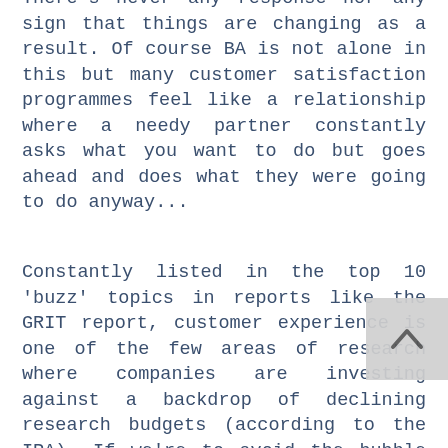There's never any response nor any sign that things are changing as a result. Of course BA is not alone in this but many customer satisfaction programmes feel like a relationship where a needy partner constantly asks what you want to do but goes ahead and does what they were going to do anyway...
Constantly listed in the top 10 'buzz' topics in reports like the GRIT report, customer experience is one of the few areas of research where companies are investing against a backdrop of declining research budgets (according to the IPA). If we're to avoid the bubble bursting, it's critical we don't take our eyes of the real prize - building brands